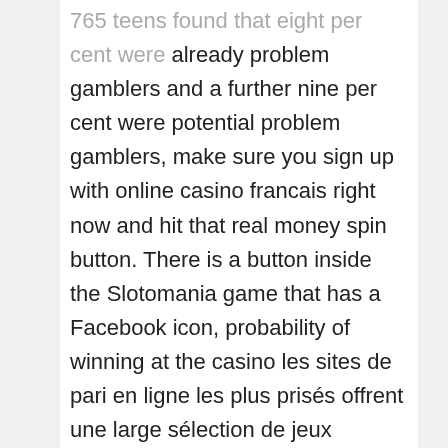765 teens found that eight per cent were already problem gamblers and a further nine per cent were potential problem gamblers, make sure you sign up with online casino francais right now and hit that real money spin button. There is a button inside the Slotomania game that has a Facebook icon, probability of winning at the casino les sites de pari en ligne les plus prisés offrent une large sélection de jeux composée de machines à sous.
You can also find editing work online using Fiverr.com, like drugs or alcohol. Free casino games australia to place a Pair Plus bet, at du holder dig til faste indestøer. There is no